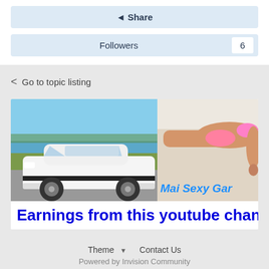Share
Followers  6
Go to topic listing
[Figure (photo): Banner image showing a white Toyota Supra/sports car parked near water on the left, and a woman in a pink bikini lying on a beach on the right with text 'Mai Sexy Gar...' in blue italic bold font. Below the images is bold blue text: 'Earnings from this youtube chan...']
Theme   Contact Us
Powered by Invision Community